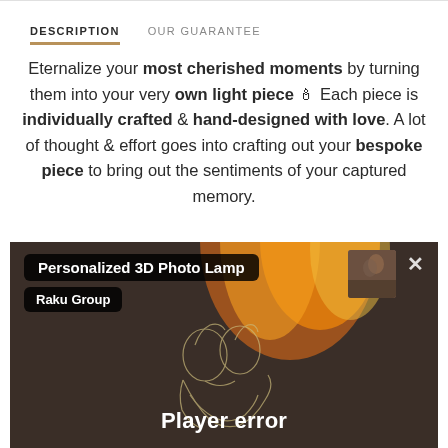DESCRIPTION   OUR GUARANTEE
Eternalize your most cherished moments by turning them into your very own light piece 🕯 Each piece is individually crafted & hand-designed with love. A lot of thought & effort goes into crafting out your bespoke piece to bring out the sentiments of your captured memory.
[Figure (screenshot): Video player showing Personalized 3D Photo Lamp by Raku Group with a couple outline illustration on dark background with flame effect. Overlaid with 'Player error' text and close button.]